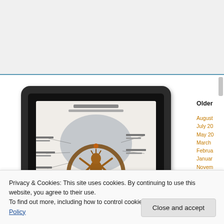[Figure (photo): Screenshot of a webpage showing a Nataraja infographic image in a dark rounded frame, with an archive sidebar on the right showing monthly links, and a cookie consent banner overlaid at the bottom.]
Older Posts
August
July 20
May 20
March
February
January
November
October
September
August
July 20
Privacy & Cookies: This site uses cookies. By continuing to use this website, you agree to their use.
To find out more, including how to control cookies, see here: Our Cookie Policy
Close and accept